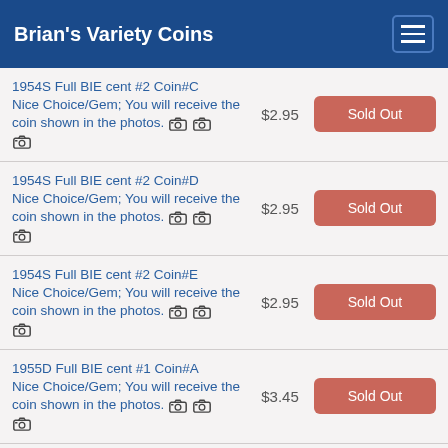Brian's Variety Coins
1954S Full BIE cent #2 Coin#C Nice Choice/Gem; You will receive the coin shown in the photos. [camera] [camera] [camera] $2.95 Sold Out
1954S Full BIE cent #2 Coin#D Nice Choice/Gem; You will receive the coin shown in the photos. [camera] [camera] [camera] $2.95 Sold Out
1954S Full BIE cent #2 Coin#E Nice Choice/Gem; You will receive the coin shown in the photos. [camera] [camera] [camera] $2.95 Sold Out
1955D Full BIE cent #1 Coin#A Nice Choice/Gem; You will receive the coin shown in the photos. [camera] [camera] [camera] $3.45 Sold Out
1955D Full BIE cent #1 Coin#B Nice Choice/Gem; You will receive the coin shown in the photos. $3.45 Sold Out